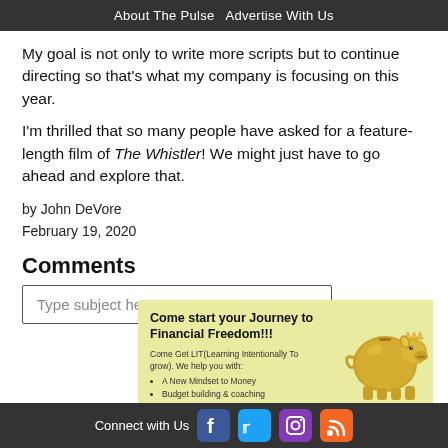About The Pulse   Advertise With Us
My goal is not only to write more scripts but to continue directing so that's what my company is focusing on this year.
I'm thrilled that so many people have asked for a feature-length film of The Whistler! We might just have to go ahead and explore that.
by John DeVore
February 19, 2020
Comments
Type subject here...
[Figure (infographic): Advertisement for financial freedom coaching service with piggy bank image. Text: Come start your Journey to Financial Freedom!!! Come Get LIT(Learning Intentionally To grow). We help you with: A New Mindset to Money, Budget building & coaching]
Connect with Us